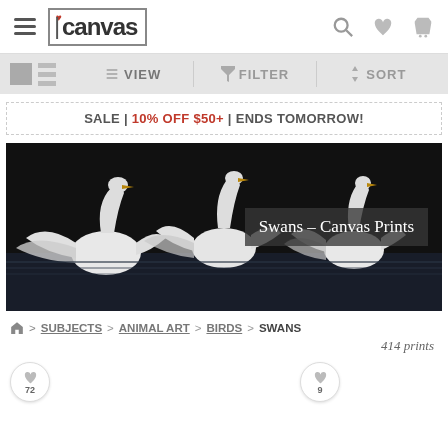iCanvas website header with navigation menu, search, wishlist, and cart icons
VIEW   FILTER   SORT
SALE | 10% OFF $50+ | ENDS TOMORROW!
[Figure (photo): Three white swans spreading wings against dark background, on water, with overlay text 'Swans - Canvas Prints']
Home > SUBJECTS > ANIMAL ART > BIRDS > SWANS
414 prints